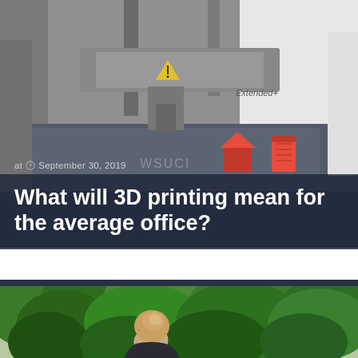[Figure (photo): Close-up photograph of a 3D printer with red printed objects (small house shape and canister shape) on a glass print bed. The machine head is visible at top with a yellow warning symbol. Text 'Extended+' and partial brand name visible on the machine.]
at  September 30, 2019
What will 3D printing mean for the average office?
[Figure (photo): Photograph of a young woman with blonde hair in a bun wearing a dark top, seen from behind, looking out at lush green trees/forest.]